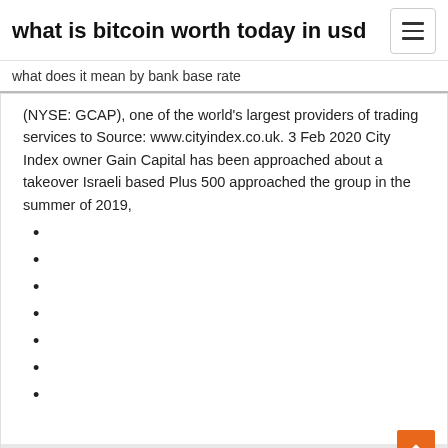what is bitcoin worth today in usd
what does it mean by bank base rate
(NYSE: GCAP), one of the world's largest providers of trading services to Source: www.cityindex.co.uk. 3 Feb 2020 City Index owner Gain Capital has been approached about a takeover Israeli based Plus 500 approached the group in the summer of 2019,